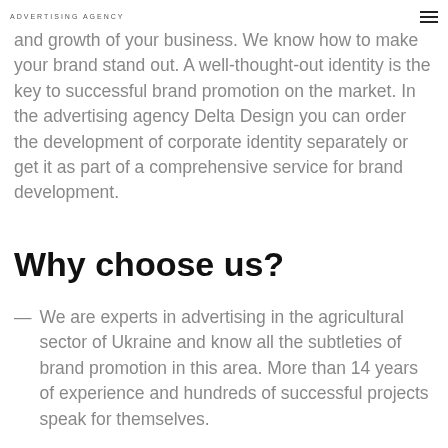ADVERTISING AGENCY
and growth of your business. We know how to make your brand stand out. A well-thought-out identity is the key to successful brand promotion on the market. In the advertising agency Delta Design you can order the development of corporate identity separately or get it as part of a comprehensive service for brand development.
Why choose us?
We are experts in advertising in the agricultural sector of Ukraine and know all the subtleties of brand promotion in this area. More than 14 years of experience and hundreds of successful projects speak for themselves.